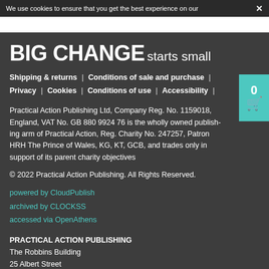We use cookies to ensure that you get the best experience on our ✕
BIG CHANGE starts small
Shipping & returns | Conditions of sale and purchase | Privacy | Cookies | Conditions of use | Accessibility |
Practical Action Publishing Ltd, Company Reg. No. 1159018, England, VAT No. GB 880 9924 76 is the wholly owned publishing arm of Practical Action, Reg. Charity No. 247257, Patron HRH The Prince of Wales, KG, KT, GCB, and trades only in support of its parent charity objectives
© 2022 Practical Action Publishing. All Rights Reserved.
powered by CloudPublish
archived by CLOCKSS
accessed via OpenAthens
PRACTICAL ACTION PUBLISHING
The Robbins Building
25 Albert Street
Rugby, CV21 2SD,